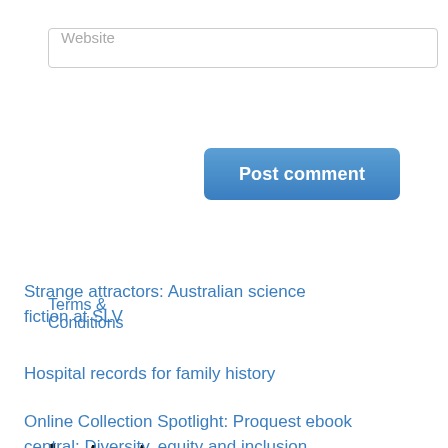Website
Post comment
Terms & Conditions
Latest Posts
Strange attractors: Australian science fiction at SLV
Hospital records for family history
Online Collection Spotlight: Proquest ebook central: Diversity, equity and inclusion collection